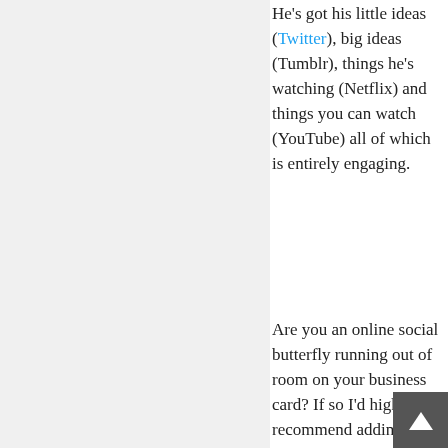He's got his little ideas (Twitter), big ideas (Tumblr), things he's watching (Netflix) and things you can watch (YouTube) all of which is entirely engaging.
Are you an online social butterfly running out of room on your business card? If so I'd highly recommend adding them all into a Flavor.Me page and uniting them under one [url]. You can see the potential [example], why not grab a personal home page of your own?
[Figure (screenshot): Facebook Like button widget showing count of 20]
TwitCount Button
[Figure (screenshot): LinkedIn Share button]
James researches and writes about social media and networking topics for the novelty Christmas gifts
[Figure (screenshot): Scroll to top button - dark grey arrow pointing up]